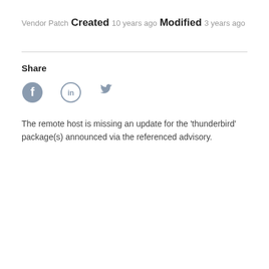Vendor Patch
Created
10 years ago
Modified
3 years ago
Share
[Figure (illustration): Three social media icons: Facebook (filled circle with 'f'), LinkedIn (circle outline with 'in'), Twitter (bird icon)]
The remote host is missing an update for the 'thunderbird' package(s) announced via the referenced advisory.